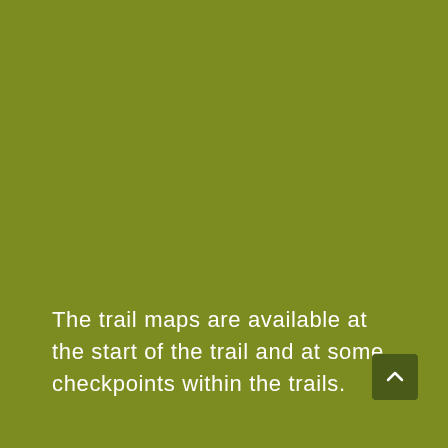The trail maps are available at the start of the trail and at some checkpoints within the trails.